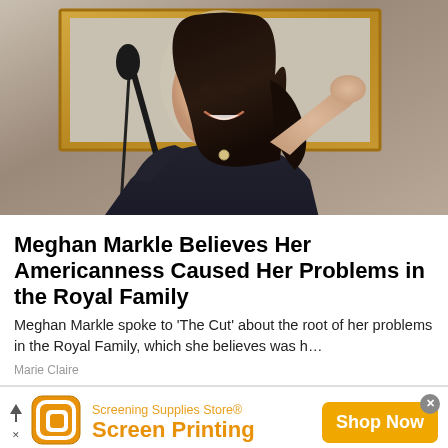[Figure (photo): Meghan Markle smiling at an event, wearing a dark off-shoulder dress, with hand raised to her hair, standing near a microphone, with a gold-framed painting in the background]
Meghan Markle Believes Her Americanness Caused Her Problems in the Royal Family
Meghan Markle spoke to 'The Cut' about the root of her problems in the Royal Family, which she believes was h…
Marie Claire
[Figure (advertisement): Advertisement for Screening Supplies Store Screen Printing with yellow Shop Now button and logo]